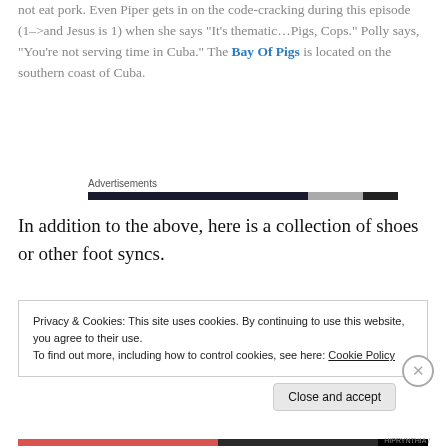not eat pork. Even Piper gets in on the code-cracking during this episode (1–>and Jesus is 1) when she says "It's thematic…Pigs, Cops." Polly says, "You're not serving time in Cuba." The Bay Of Pigs is located on the southern coast of Cuba.
Advertisements
In addition to the above, here is a collection of shoes or other foot syncs.
Privacy & Cookies: This site uses cookies. By continuing to use this website, you agree to their use.
To find out more, including how to control cookies, see here: Cookie Policy
Close and accept